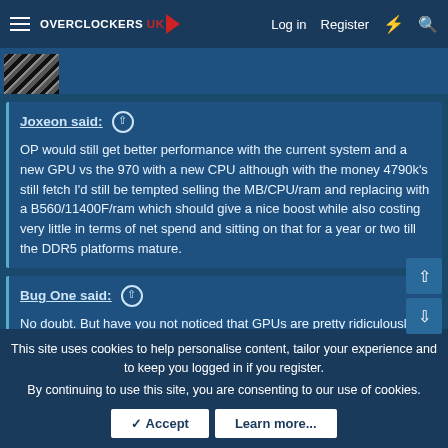Overclockers UK — Log in  Register
Joxeon said: ↑ OP would still get better performance with the current system and a new GPU vs the 970 with a new CPU although with the money 4790k's still fetch I'd still be tempted selling the MB/CPU/ram and replacing with a B560/11400F/ram which should give a nice boost while also costing very little in terms of net spend and sitting on that for a year or two till the DDR5 platforms mature.
Bug One said: ↑ No doubt. But have you not noticed that GPUs are pretty ridiculously priced at the moment. Instead of spending £1000 on a 2080ti now, spend £600 on the rest of the system and wait for £400 to buy a decent
This site uses cookies to help personalise content, tailor your experience and to keep you logged in if you register.
By continuing to use this site, you are consenting to our use of cookies.